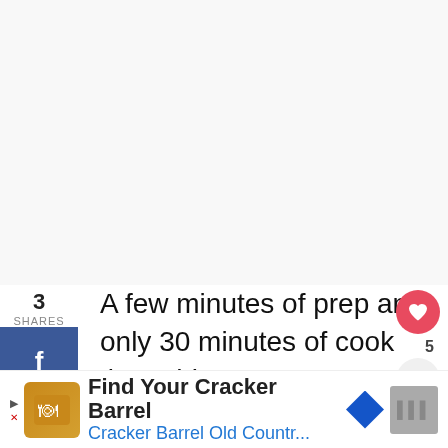3
SHARES
facebook share button
twitter share button
pinterest share button
heart/save button
A few minutes of prep and only 30 minutes of cook time, this Instant Post Soup with Pork, Smoked Sausage and Beans is my go-to dinner on a cold fall night!
[Figure (photo): Hand holding a bowl of pork, smoked sausage and bean soup with chunks of meat]
WHAT'S NEXT → Ham Hock & 15 Bean Soup
Find Your Cracker Barrel
Cracker Barrel Old Countr...